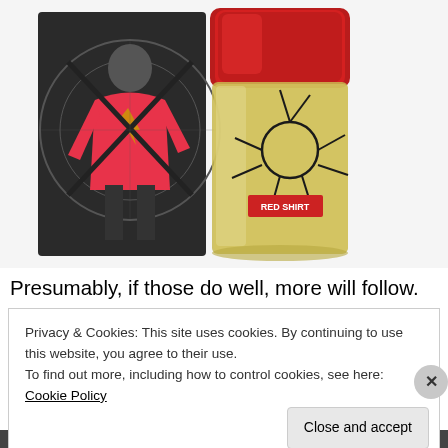[Figure (photo): Product photo showing a Star Trek Red Shirt cologne/fragrance set — a dark box with a figure in a red Star Trek shirt crossed out, alongside a glass bottle with a red metallic cap and 'RED SHIRT' label.]
Presumably, if those do well, more will follow. I'd propose
Privacy & Cookies: This site uses cookies. By continuing to use this website, you agree to their use.
To find out more, including how to control cookies, see here: Cookie Policy
Close and accept
Advertisements